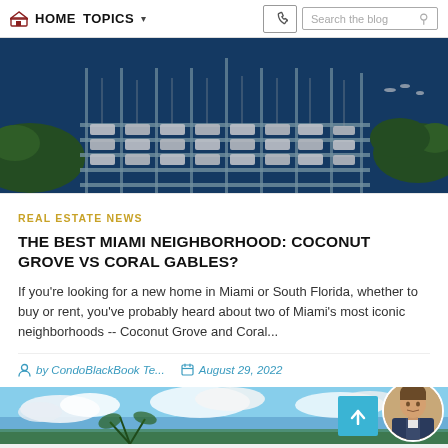HOME   TOPICS ▾   [phone]   Search the blog
[Figure (photo): Aerial view of a large marina with many sailboats and yachts docked in organized slips, surrounded by blue water and green trees.]
REAL ESTATE NEWS
THE BEST MIAMI NEIGHBORHOOD: COCONUT GROVE VS CORAL GABLES?
If you're looking for a new home in Miami or South Florida, whether to buy or rent, you've probably heard about two of Miami's most iconic neighborhoods -- Coconut Grove and Coral...
by CondoBlackBook Te...   August 29, 2022
[Figure (photo): Partially visible image at the bottom showing a tropical sky with clouds and what appears to be palm trees.]